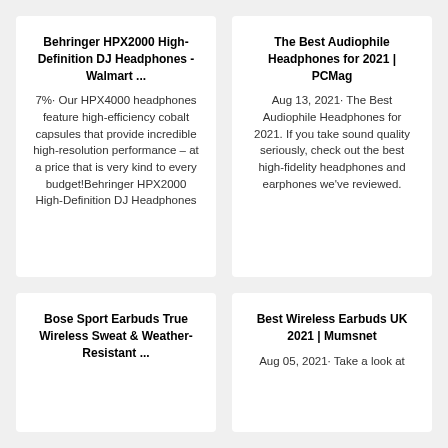Behringer HPX2000 High-Definition DJ Headphones - Walmart ...
7%· Our HPX4000 headphones feature high-efficiency cobalt capsules that provide incredible high-resolution performance – at a price that is very kind to every budget!Behringer HPX2000 High-Definition DJ Headphones
The Best Audiophile Headphones for 2021 | PCMag
Aug 13, 2021· The Best Audiophile Headphones for 2021. If you take sound quality seriously, check out the best high-fidelity headphones and earphones we've reviewed.
Bose Sport Earbuds True Wireless Sweat & Weather-Resistant ...
Best Wireless Earbuds UK 2021 | Mumsnet
Aug 05, 2021· Take a look at